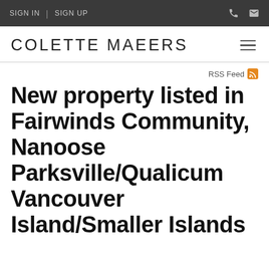SIGN IN | SIGN UP
COLETTE MAEERS
RSS Feed
New property listed in Fairwinds Community, Nanoose Parksville/Qualicum Vancouver Island/Smaller Islands